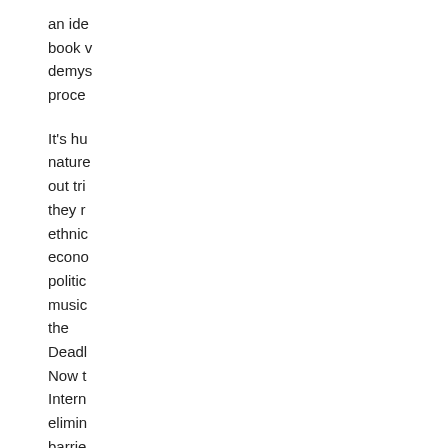an ide book v demys proce It's hu nature out tri they r ethni econo politic music the Deadl Now t Intern elimin barre geogr and ti media anyor